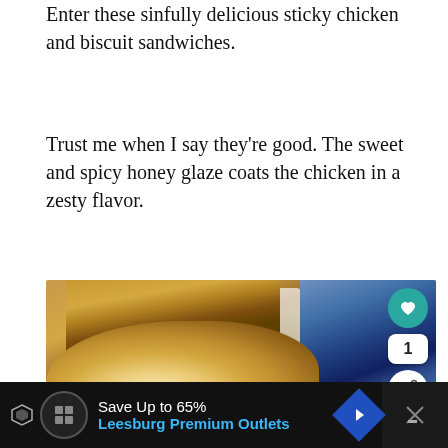Enter these sinfully delicious sticky chicken and biscuit sandwiches.
Trust me when I say they're good. The sweet and spicy honey glaze coats the chicken in a zesty flavor.
[Figure (photo): Close-up photo of glazed sticky chicken biscuit sandwiches on a white plate with blue fabric in the background. Overlay UI shows a teal heart button, share count of 1, and a share icon button. A 'What's Next' panel shows Fried Banana Peppers.]
[Figure (screenshot): Advertisement bar: Save Up to 65% Leesburg Premium Outlets]